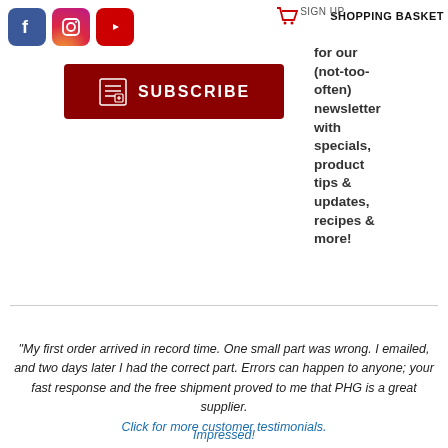[Figure (logo): Facebook, Instagram, and YouTube social media icons in the top left]
SHOPPING BASKET
Sign up for our (not-too-often) newsletter with specials, product tips & updates, recipes & more!
[Figure (illustration): Dark red SUBSCRIBE button with newspaper/list icon]
"My first order arrived in record time. One small part was wrong. I emailed, and two days later I had the correct part. Errors can happen to anyone; your fast response and the free shipment proved to me that PHG is a great supplier.
Click for more customer testimonials. / Impressed!